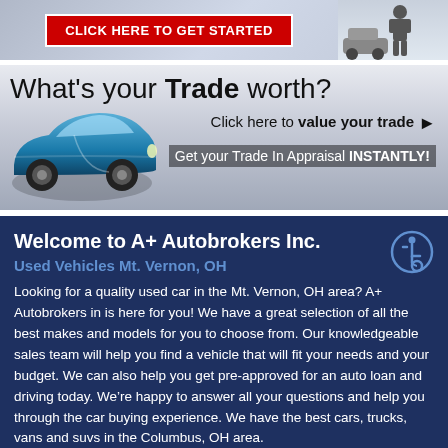[Figure (infographic): Red button banner reading CLICK HERE TO GET STARTED with a person and car silhouette on the right side]
[Figure (infographic): Trade-in value advertisement banner: What's your Trade worth? Click here to value your trade. Get your Trade In Appraisal INSTANTLY! with a blue sports car on the left.]
Welcome to A+ Autobrokers Inc.
Used Vehicles Mt. Vernon, OH
Looking for a quality used car in the Mt. Vernon, OH area? A+ Autobrokers in is here for you! We have a great selection of all the best makes and models for you to choose from. Our knowledgeable sales team will help you find a vehicle that will fit your needs and your budget. We can also help you get pre-approved for an auto loan and driving today. We're happy to answer all your questions and help you through the car buying experience. We have the best cars, trucks, vans and suvs in the Columbus, OH area.